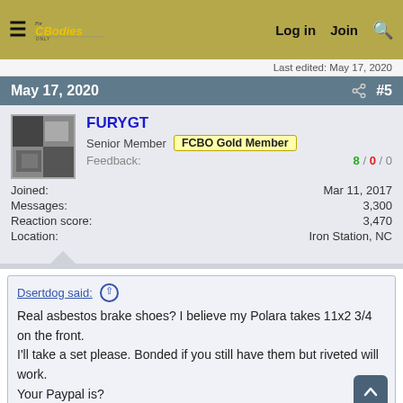For C Bodies Only Classic Mopar Forum — Log in | Join | Search
Last edited: May 17, 2020
May 17, 2020  #5
FURYGT
Senior Member  FCBO Gold Member
Feedback: 8 / 0 / 0
Joined: Mar 11, 2017
Messages: 3,300
Reaction score: 3,470
Location: Iron Station, NC
Dsertdog said:
Real asbestos brake shoes? I believe my Polara takes 11x2 3/4 on the front.
I'll take a set please. Bonded if you still have them but riveted will work.
Your Paypal is?